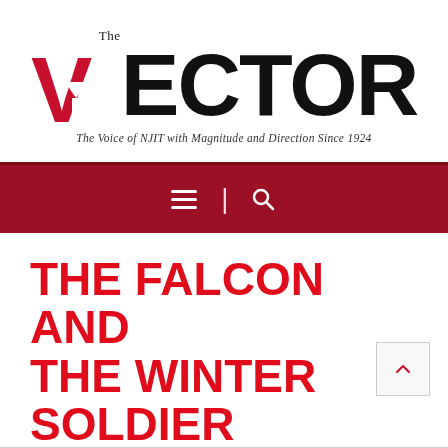The VECTOR — The Voice of NJIT with Magnitude and Direction Since 1924
[Figure (logo): The Vector newspaper logo with large bold 'VECTOR' text and a red V with downward arrow, tagline: The Voice of NJIT with Magnitude and Direction Since 1924]
THE FALCON AND THE WINTER SOLDIER REVIEW